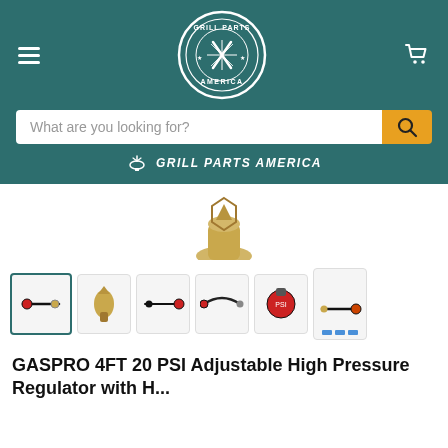[Figure (logo): Grill Parts America circular logo with grill and utensils icon, white on teal background]
What are you looking for?
GRILL PARTS AMERICA
[Figure (photo): Partial product image showing brass fittings/connectors on white background]
[Figure (photo): Row of product thumbnail images: hose with connectors (selected), brass fitting, regulator connectors, hose assembly, red regulator gauge, hose with connector, last thumbnail with blue selection indicators]
GASPRO 4FT 20 PSI Adjustable High Pressure Regulator with H...